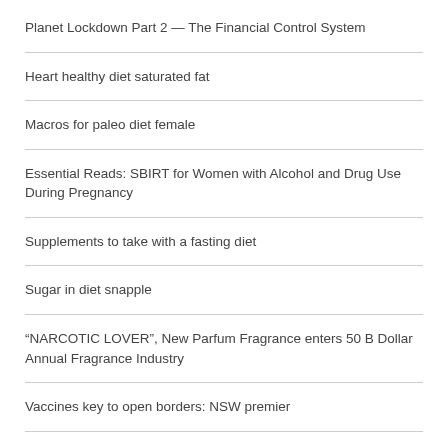Planet Lockdown Part 2 — The Financial Control System
Heart healthy diet saturated fat
Macros for paleo diet female
Essential Reads: SBIRT for Women with Alcohol and Drug Use During Pregnancy
Supplements to take with a fasting diet
Sugar in diet snapple
“NARCOTIC LOVER”, New Parfum Fragrance enters 50 B Dollar Annual Fragrance Industry
Vaccines key to open borders: NSW premier
Keto diet chicken dinner
How to Avoid Being Fooled at the Supermarket